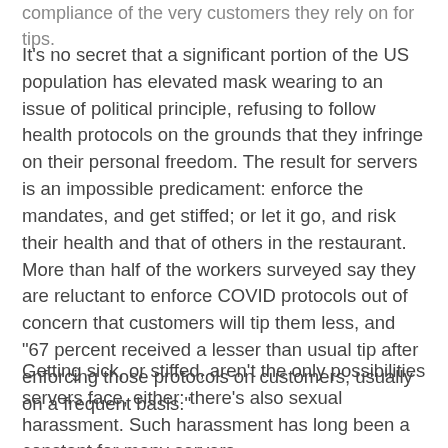compliance of the very customers they rely on for tips.
It's no secret that a significant portion of the US population has elevated mask wearing to an issue of political principle, refusing to follow health protocols on the grounds that they infringe on their personal freedom. The result for servers is an impossible predicament: enforce the mandates, and get stiffed; or let it go, and risk their health and that of others in the restaurant. More than half of the workers surveyed say they are reluctant to enforce COVID protocols out of concern that customers will tip them less, and "67 percent received a lesser than usual tip after enforcing those protocols on customers, usually on a frequent basis."
Getting sick, or stiffed, aren't the only possibilities servers face, either: there's also sexual harassment. Such harassment has long been a constant for many servers.